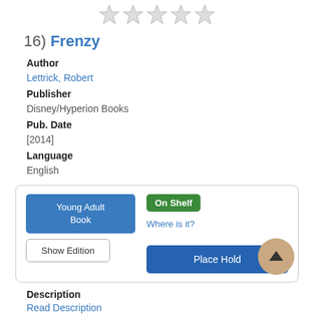[Figure (other): 5 empty star rating icons in a row]
16) Frenzy
Author
Lettrick, Robert
Publisher
Disney/Hyperion Books
Pub. Date
[2014]
Language
English
Young Adult Book | Show Edition | On Shelf | Where is it? | Place Hold
Description
Read Description
More Info | Add to list